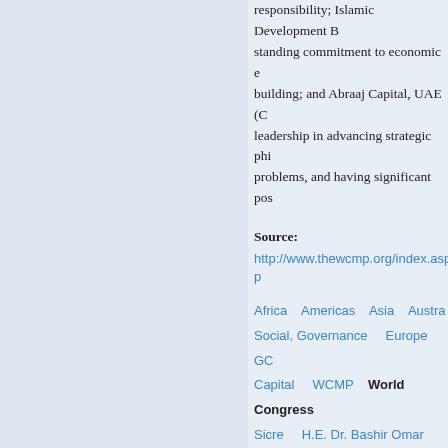responsibility; Islamic Development Bank standing commitment to economic building; and Abraaj Capital, UAE (C leadership in advancing strategic phi problems, and having significant pos
Source:
http://www.thewcmp.org/index.asp?p
Africa   Americas   Asia   Austra Social, Governance   Europe   GC Capital   WCMP   World Congress Sicre   H.E. Dr. Bashir Omar Fadlall Prince Talal bin Abdul Aziz Al Saud IslamicFinance.de   Press Releas
Read more
Congress of Muslim Ph Online - March 23-24, Charge Bahr